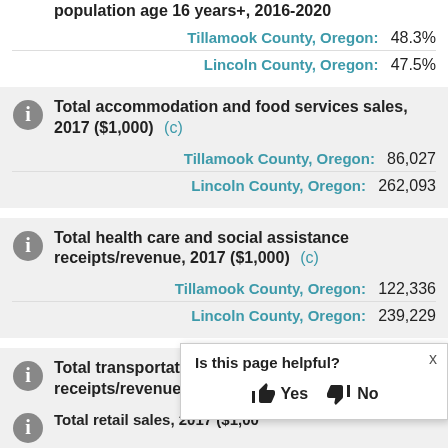population age 16 years+, 2016-2020
Tillamook County, Oregon: 48.3%
Lincoln County, Oregon: 47.5%
Total accommodation and food services sales, 2017 ($1,000) (c)
Tillamook County, Oregon: 86,027
Lincoln County, Oregon: 262,093
Total health care and social assistance receipts/revenue, 2017 ($1,000) (c)
Tillamook County, Oregon: 122,336
Lincoln County, Oregon: 239,229
Total transportation and warehousing receipts/revenue, 2017 ($1,000) (c)
Tillamook County, Oregon: 34,327
Lincoln County, Oregon: [obscured]
[Figure (other): Is this page helpful? Yes / No popup overlay]
Total retail sales, 2017 ($1,000) [partially visible]